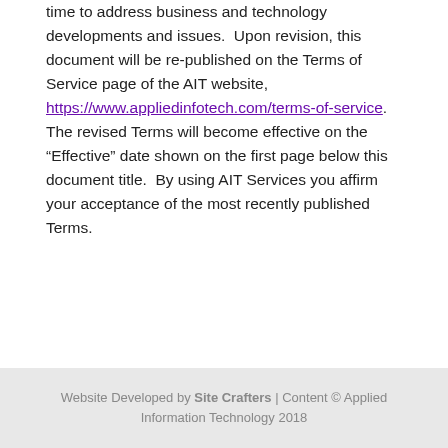time to address business and technology developments and issues.  Upon revision, this document will be re-published on the Terms of Service page of the AIT website, https://www.appliedinfotech.com/terms-of-service.  The revised Terms will become effective on the “Effective” date shown on the first page below this document title.  By using AIT Services you affirm your acceptance of the most recently published Terms.
Website Developed by Site Crafters | Content © Applied Information Technology 2018